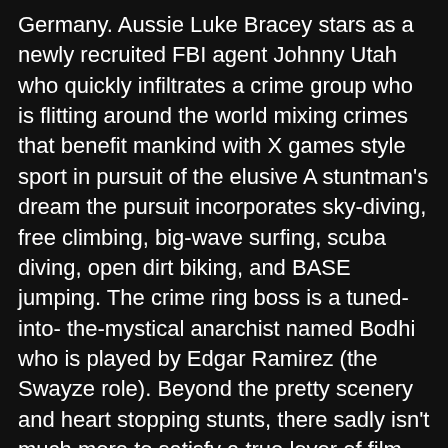Germany. Aussie Luke Bracey stars as a newly recruited FBI agent Johnny Utah who quickly infiltrates a crime group who is flitting around the world mixing crimes that benefit mankind with X games style sport in pursuit of the elusive A stuntman's dream the pursuit incorporates sky-diving, free climbing, big-wave surfing, scuba diving, open dirt biking, and BASE jumping. The crime ring boss is a tuned- into- the-mystical anarchist named Bodhi who is played by Edgar Ramirez (the Swayze role). Beyond the pretty scenery and heart stopping stunts, there sadly isn't much more to satisfy a true lover of film. The script is full of holes and a little vapid, the acting carries the story but nothing more. Dialog is somewhat cheesy and approaches canine head tilting status as testosterone flows freely and male bonding and brotherhood rituals abound. The crime group is always too cool for school attitude while exposing mega muscles and tattoos everywhere they go and if one falls by the wayside then they have their own version of a Viking funeral. These criminals are not interested in keeping the spoils of the crime. Instead they want to complete the Ozaki Eight which is eight of death-defying challenges that honor the memory of Ozawki and pay tribute to the forces of nature. In the end